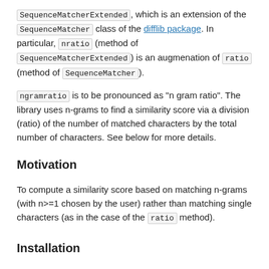SequenceMatcherExtended, which is an extension of the SequenceMatcher class of the difflib package. In particular, nratio (method of SequenceMatcherExtended) is an augmenation of ratio (method of SequenceMatcher).
ngramratio is to be pronounced as "n gram ratio". The library uses n-grams to find a similarity score via a division (ratio) of the number of matched characters by the total number of characters. See below for more details.
Motivation
To compute a similarity score based on matching n-grams (with n>=1 chosen by the user) rather than matching single characters (as in the case of the ratio method).
Installation